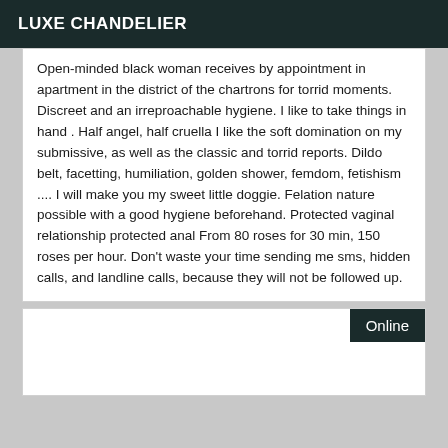LUXE CHANDELIER
Open-minded black woman receives by appointment in apartment in the district of the chartrons for torrid moments. Discreet and an irreproachable hygiene. I like to take things in hand . Half angel, half cruella I like the soft domination on my submissive, as well as the classic and torrid reports. Dildo belt, facetting, humiliation, golden shower, femdom, fetishism .... I will make you my sweet little doggie. Felation nature possible with a good hygiene beforehand. Protected vaginal relationship protected anal From 80 roses for 30 min, 150 roses per hour. Don't waste your time sending me sms, hidden calls, and landline calls, because they will not be followed up.
Online